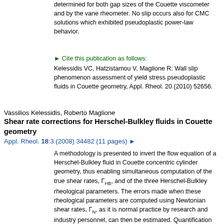determined for both gap sizes of the Couette viscometer and by the vane rheometer. No slip occurs also for CMC solutions which exhibited pseudoplastic power-law behavior.
► Cite this publication as follows: Kelessidis VC, Hatzistamou V, Maglione R: Wall slip phenomenon assessment of yield stress pseudoplastic fluids in Couette geometry, Appl. Rheol. 20 (2010) 52656.
Vassilios Kelessidis, Roberto Maglione
Shear rate corrections for Herschel-Bulkley fluids in Couette geometry
Appl. Rheol. 18:3 (2008) 34482 (11 pages) ►
A methodology is presented to invert the flow equation of a Herschel-Bulkley fluid in Couette concentric cylinder geometry, thus enabling simultaneous computation of the true shear rates, Γ_HB, and of the three Herschel-Bulkley rheological parameters. The errors made when these rheological parameters are computed using Newtonian shear rates, Γ_N, as it is normal practice by research and industry personnel, can then be estimated. Quantification of these errors has been performed using narrow gap viscometer data from literature, with most of them taken with oil-field rheometers. The results indicate that significant differences exist between the yield stress and the flow behavior index computed using Γ_HB versus the parameters obtained using Γ_N and this is an outcome of the higher Γ_HB values. Predicted true shear rates and rheological parameters are in very good agreement with results reported by other investigators, who have followed different approaches to invert the